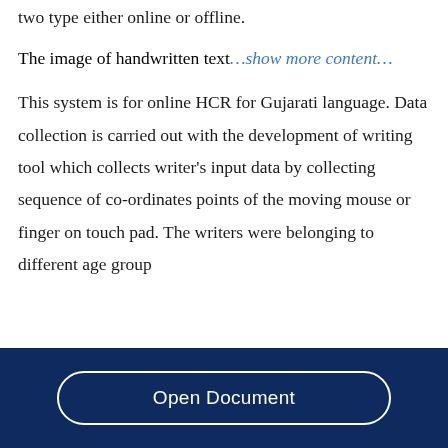two type either online or offline.
The image of handwritten text…show more content…
This system is for online HCR for Gujarati language. Data collection is carried out with the development of writing tool which collects writer's input data by collecting sequence of co-ordinates points of the moving mouse or finger on touch pad. The writers were belonging to different age group
Open Document